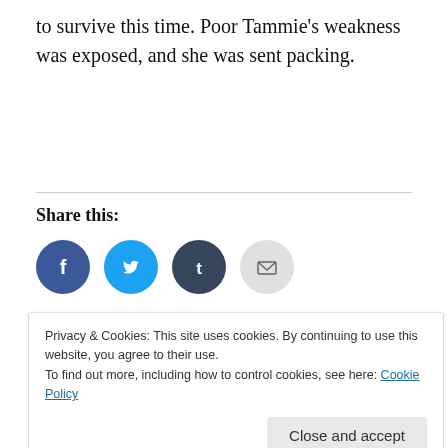to survive this time. Poor Tammie's weakness was exposed, and she was sent packing.
Share this:
[Figure (infographic): Row of four social sharing icon circles: Facebook (blue), Twitter (cyan), Tumblr (dark navy), Email (light grey with envelope icon)]
Privacy & Cookies: This site uses cookies. By continuing to use this website, you agree to their use.
To find out more, including how to control cookies, see here: Cookie Policy
Close and accept